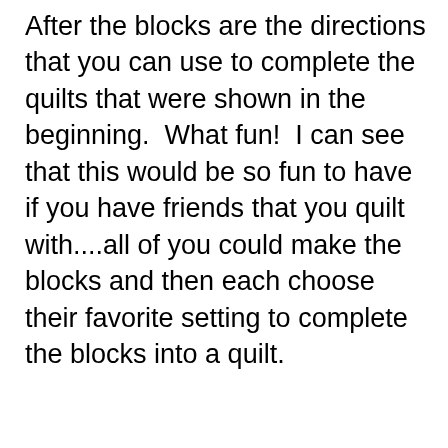After the blocks are the directions that you can use to complete the quilts that were shown in the beginning.  What fun!  I can see that this would be so fun to have if you have friends that you quilt with....all of you could make the blocks and then each choose their favorite setting to complete the blocks into a quilt.